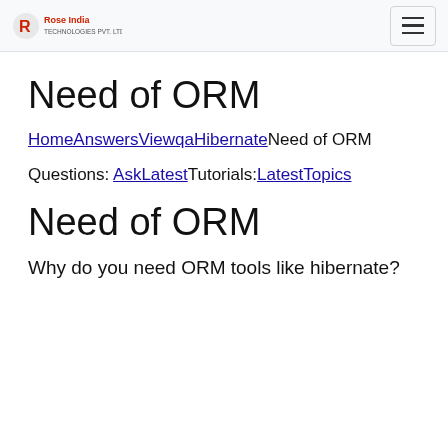Rose India Technologies Pvt. Ltd. — navigation bar with logo and hamburger menu
Need of ORM
HomeAnswersViewqaHibernateNeed of ORM
Questions: AskLatestTutorials:LatestTopics
Need of ORM
Why do you need ORM tools like hibernate?